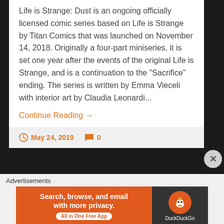Life is Strange: Dust is an ongoing officially licensed comic series based on Life is Strange by Titan Comics that was launched on November 14, 2018. Originally a four-part miniseries, it is set one year after the events of the original Life is Strange, and is a continuation to the "Sacrifice" ending. The series is written by Emma Vieceli with interior art by Claudia Leonardi...
Continue Reading →
May 24, 2019   0
Advertisements
[Figure (screenshot): DuckDuckGo advertisement banner: orange left panel with text 'Search, browse, and email with more privacy. All in One Free App', dark right panel with DuckDuckGo logo and duck icon.]